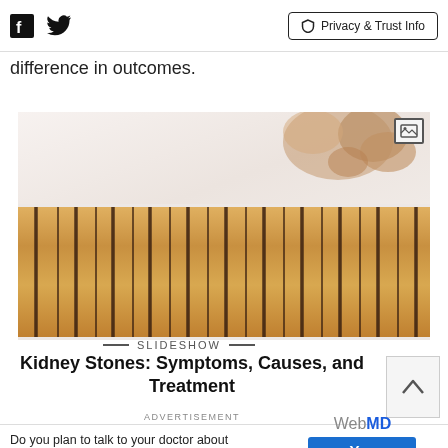Facebook | Twitter | Privacy & Trust Info
difference in outcomes.
[Figure (photo): Photo of kidney stones next to a ruler for scale, showing small brownish stones and a measurement ruler strip]
SLIDESHOW — Kidney Stones: Symptoms, Causes, and Treatment
ADVERTISEMENT
Do you plan to talk to your doctor about kidney disease due to diabetes in the next 30 days?
WebMD Yes — Clicking yes will take you to a new page to learn about Diabetes and Kidney Disease.